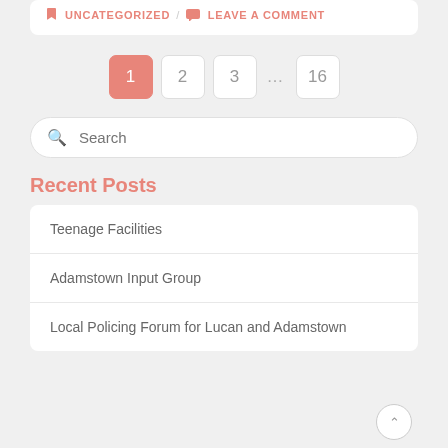UNCATEGORIZED / LEAVE A COMMENT
1 2 3 ... 16
Search
Recent Posts
Teenage Facilities
Adamstown Input Group
Local Policing Forum for Lucan and Adamstown